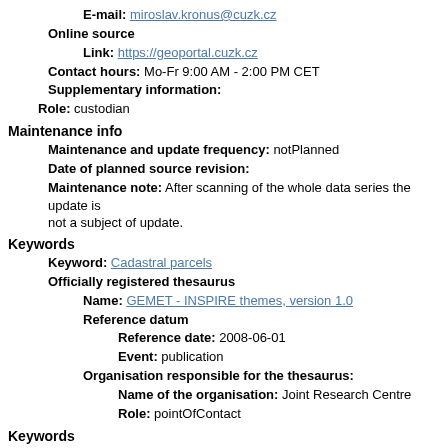E-mail: miroslav.kronus@cuzk.cz
Online source
Link: https://geoportal.cuzk.cz
Contact hours: Mo-Fr 9:00 AM - 2:00 PM CET
Supplementary information:
Role: custodian
Maintenance info
Maintenance and update frequency: notPlanned
Date of planned source revision:
Maintenance note: After scanning of the whole data series the update is not a subject of update.
Keywords
Keyword: Cadastral parcels
Officially registered thesaurus
Name: GEMET - INSPIRE themes, version 1.0
Reference datum
Reference date: 2008-06-01
Event: publication
Organisation responsible for the thesaurus:
Name of the organisation: Joint Research Centre
Role: pointOfContact
Keywords
Keyword: cadastral map, cadastre map
Keyword: preserved map
Keyword: stable cadastre